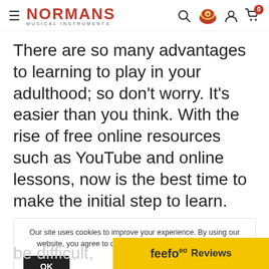NORMANS MUSICAL INSTRUMENTS
There are so many advantages to learning to play in your adulthood; so don't worry. It's easier than you think. With the rise of free online resources such as YouTube and online lessons, now is the best time to make the initial step to learn.
Our site uses cookies to improve your experience. By using our website, you agree to our Privacy Policy and Cookie Policy
be difficult,
[Figure (logo): Feefo Reviews logo on yellow bar]